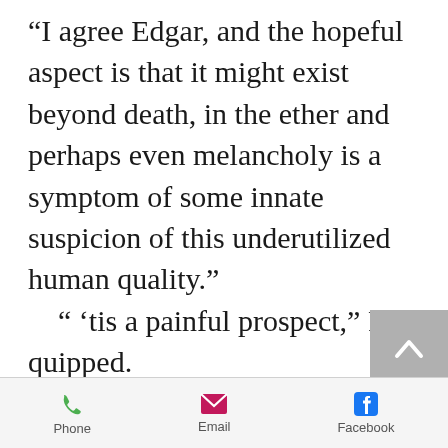“I agree Edgar, and the hopeful aspect is that it might exist beyond death, in the ether and perhaps even melancholy is a symptom of some innate suspicion of this underutilized human quality.”
    “ ’tis a painful prospect,” Poe quipped.
    “But one to spur on our search for it, to give us a good reason for living.” Lofland
Phone | Email | Facebook